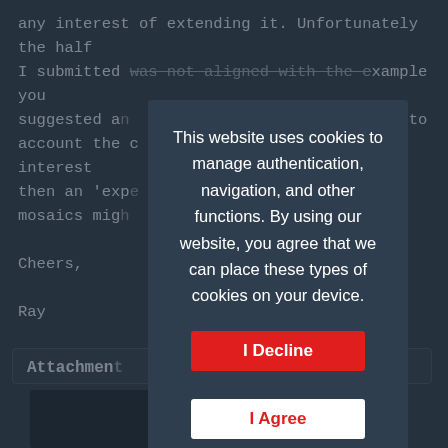any interest of extending it. Unfortunately the half I submitted was not aligned with the example you suggested and ... take into account the d... any interest then an 'expe... comes to mosaics migh... ng.

Cheers,

Ray
[Figure (screenshot): Cookie consent modal popup with dark background overlay. Contains text: 'This website uses cookies to manage authentication, navigation, and other functions. By using our website, you agree that we can place these types of cookies on your device.' with two buttons: 'I Decline' (red) and 'I Agree' (white with red text).]
Attachmen...